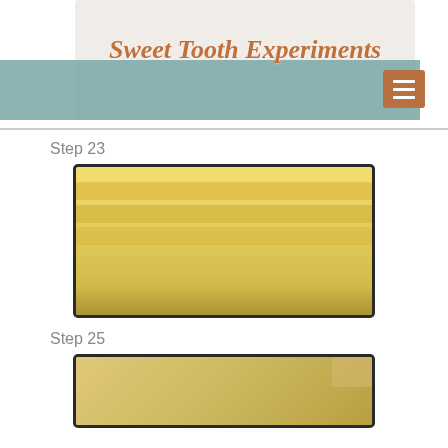Sweet Tooth Experiments
Step 23
[Figure (photo): Overhead view of a baked loaf in a dark rectangular baking pan, showing golden-yellow fluffy top with ridges]
Step 25
[Figure (photo): Close-up top-down view of a baking pan corner showing baked golden content inside dark pan]